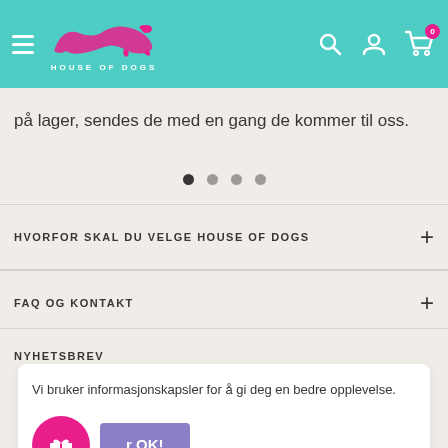House of Dogs - Navigation header with logo, search, account, and cart icons
på lager, sendes de med en gang de kommer til oss.
[Figure (other): Pagination dots: 4 dots, first one active/filled, remaining three lighter]
HVORFOR SKAL DU VELGE HOUSE OF DOGS
FAQ OG KONTAKT
NYHETSBREV
Vi bruker informasjonskapsler for å gi deg en bedre opplevelse.
OK!